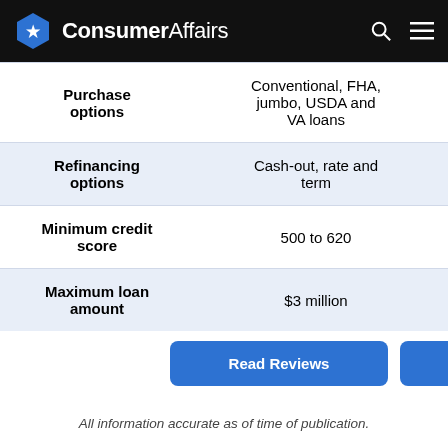ConsumerAffairs
|  | Col1 | Col2 |
| --- | --- | --- |
| Purchase options | Conventional, FHA, jumbo, USDA and VA loans | Conventional, jumbo, FHA loans |
| Refinancing options | Cash-out, rate and term | Cash-out, rate and term |
| Minimum credit score | 500 to 620 | 580 to |
| Maximum loan amount | $3 million | $2.5 mi |
Read Reviews
All information accurate as of time of publication.